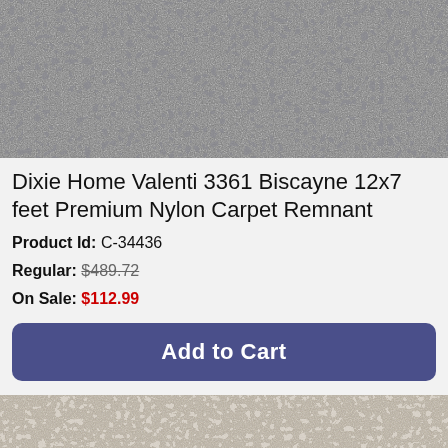[Figure (photo): Close-up photo of dark grey textured carpet (Biscayne color), showing looped pile texture]
Dixie Home Valenti 3361 Biscayne 12x7 feet Premium Nylon Carpet Remnant
Product Id: C-34436
Regular: $489.72
On Sale: $112.99
Add to Cart
[Figure (photo): Close-up photo of light grey/beige textured carpet, showing looped pile texture]